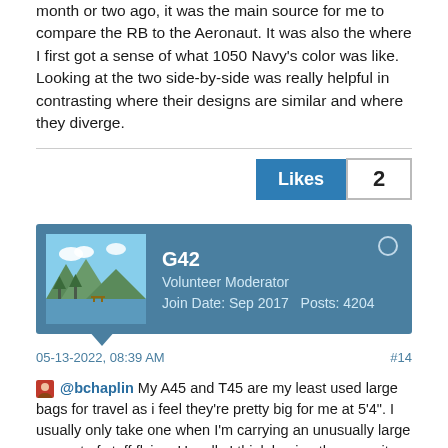month or two ago, it was the main source for me to compare the RB to the Aeronaut. It was also the where I first got a sense of what 1050 Navy's color was like. Looking at the two side-by-side was really helpful in contrasting where their designs are similar and where they diverge.
Likes 2
G42 Volunteer Moderator Join Date: Sep 2017   Posts: 4204
05-13-2022, 08:39 AM
#14
@bchaplin My A45 and T45 are my least used large bags for travel as i feel they're pretty big for me at 5'4". I usually only take one when I'm carrying an unusually large amount of stuff flying. Usually I think having the capacity divvied up into two bags is more flexible.
With that being said, I do have several of the Large Yeoman Duffels at 71L that I use for storage, camping, etc. - so the RB60 is only appealing to me possibly for car camping, but it's noticeably more expensive for features I probably wouldn't use for that.